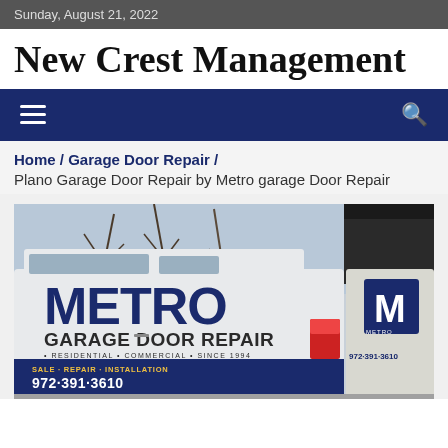Sunday, August 21, 2022
New Crest Management
Home / Garage Door Repair / Plano Garage Door Repair by Metro garage Door Repair
[Figure (photo): A Metro Garage Door Repair branded van/truck with large blue logo, parked near a store. Text on vehicle: METRO GARAGE DOOR REPAIR, RESIDENTIAL · COMMERCIAL · SINCE 1994, SALE · REPAIR · INSTALLATION, 972·391·3610]